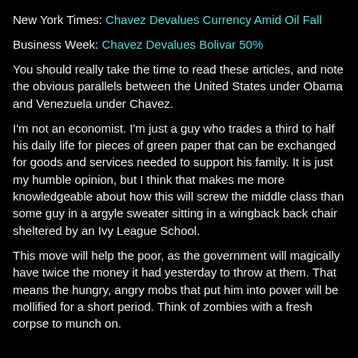New York Times: Chavez Devalues Currency Amid Oil Fall
Business Week: Chavez Devalues Bolivar 50%
You should really take the time to read these articles, and note the obvious parallels between the United States under Obama and Venezuela under Chavez.
I'm not an economist. I'm just a guy who trades a third to half his daily life for pieces of green paper that can be exchanged for goods and services needed to support his family. It is just my humble opinion, but I think that makes me more knowledgeable about how this will screw the middle class than some guy in a argyle sweater sitting in a wingback back chair sheltered by an Ivy League School.
This move will help the poor, as the government will magically have twice the money it had yesterday to throw at them. That means the hungry, angry mobs that put him into power will be mollified for a short period. Think of zombies with a fresh corpse to munch on.